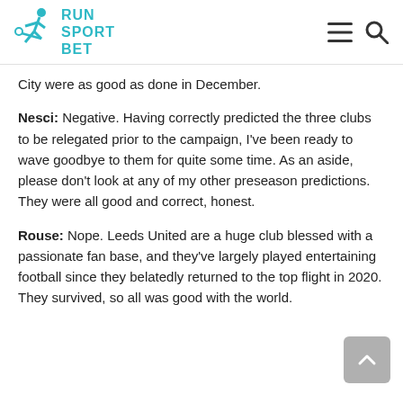RUN SPORT BET
City were as good as done in December.
Nesci: Negative. Having correctly predicted the three clubs to be relegated prior to the campaign, I've been ready to wave goodbye to them for quite some time. As an aside, please don't look at any of my other preseason predictions. They were all good and correct, honest.
Rouse: Nope. Leeds United are a huge club blessed with a passionate fan base, and they've largely played entertaining football since they belatedly returned to the top flight in 2020. They survived, so all was good with the world.